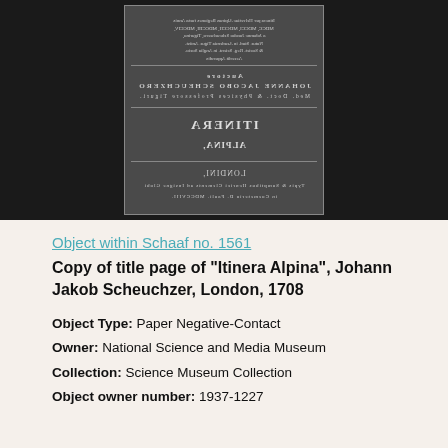[Figure (photo): A paper negative/contact print of the title page of 'Itinera Alpina' by Johann Jakob Scheuchzer, London 1708. The image shows mirrored/reversed text typical of a paper negative, with Latin text visible in mirror image on a dark background. The title page shows sections with the author's name, book title, and publication details all in reversed mirror writing.]
Object within Schaaf no. 1561
Copy of title page of "Itinera Alpina", Johann Jakob Scheuchzer, London, 1708
Object Type: Paper Negative-Contact
Owner: National Science and Media Museum
Collection: Science Museum Collection
Object owner number: 1937-1227